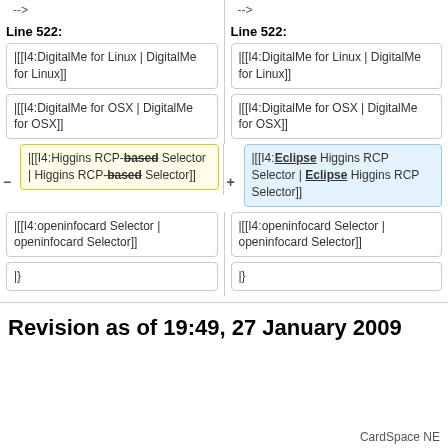-->
-->
Line 522:
Line 522:
|[[I4:DigitalMe for Linux | DigitalMe for Linux]]
|[[I4:DigitalMe for Linux | DigitalMe for Linux]]
|[[I4:DigitalMe for OSX | DigitalMe for OSX]]
|[[I4:DigitalMe for OSX | DigitalMe for OSX]]
|[[I4:Higgins RCP-based Selector | Higgins RCP-based Selector]]
|[[I4:Eclipse Higgins RCP Selector | Eclipse Higgins RCP Selector]]
|[[I4:openinfocard Selector | openinfocard Selector]]
|[[I4:openinfocard Selector | openinfocard Selector]]
|}
|}
Revision as of 19:49, 27 January 2009
CardSpace NE